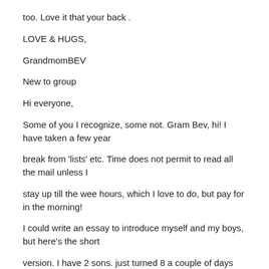too. Love it that your back .
LOVE & HUGS,
GrandmomBEV
New to group
Hi everyone,
Some of you I recognize, some not. Gram Bev, hi! I have taken a few year
break from 'lists' etc. Time does not permit to read all the mail unless I
stay up till the wee hours, which I love to do, but pay for in the morning!
I could write an essay to introduce myself and my boys, but here's the short
version. I have 2 sons. just turned 8 a couple of days ago. He
was an invitro fertilization baby, conceived after 5 years of fertility
treatment. He was born with meconium ilius and had surgery at 2 days